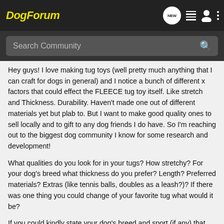DogForum
Search Community
Hey guys! I love making tug toys (well pretty much anything that I can craft for dogs in general) and I notice a bunch of different x factors that could effect the FLEECE tug toy itself. Like stretch and Thickness. Durability. Haven't made one out of different materials yet but plab to. But I want to make good quality ones to sell locally and to gift to any dog friends I do have. So I'm reaching out to the biggest dog community I know for some research and development!
What qualities do you look for in your tugs? How stretchy? For your dog's breed what thickness do you prefer? Length? Preferred materials? Extras (like tennis balls, doubles as a leash?)? If there was one thing you could change of your favorite tug what would it be?
If you could kindly state your dog's breed and sport (if any) that